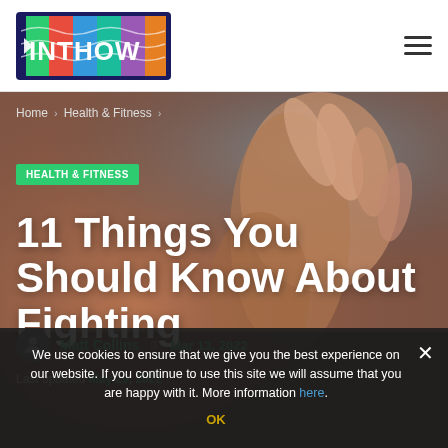INTHOW [logo] — hamburger menu
Home > Health & Fitness >
HEALTH & FITNESS
11 Things You Should Know About Fighting
Matt Collins   Mar 13, 2022
Last updated May 29, 2022
We use cookies to ensure that we give you the best experience on our website. If you continue to use this site we will assume that you are happy with it. More information here. OK